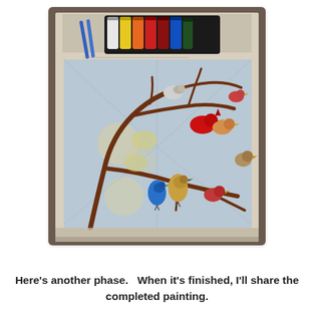[Figure (photo): A photograph showing a work-in-progress painting of colorful birds perched on bare tree branches against a light blue background. The painting is laid on newspaper. Above the painting is a black case holding multiple paint tubes in various colors, and two blue paintbrushes.]
Here's another phase.   When it's finished, I'll share the completed painting.